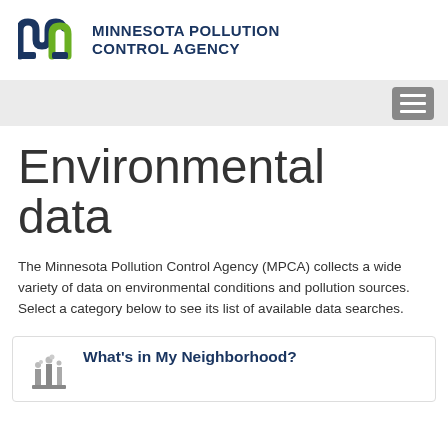[Figure (logo): Minnesota Pollution Control Agency logo with stylized 'mn' letters in dark blue and green, followed by agency name in dark blue uppercase text]
[Figure (screenshot): Navigation bar with hamburger menu button on the right side, gray background]
Environmental data
The Minnesota Pollution Control Agency (MPCA) collects a wide variety of data on environmental conditions and pollution sources. Select a category below to see its list of available data searches.
What's in My Neighborhood?